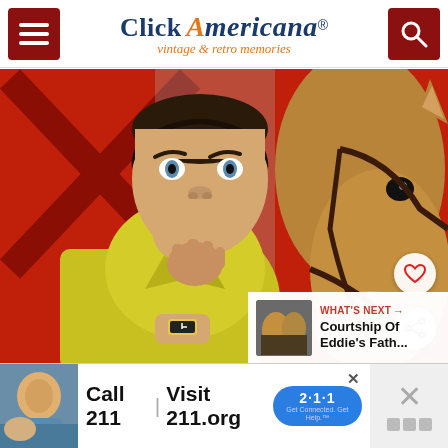Click Americana — vintage & retro memories
[Figure (photo): A man in a yellow polo shirt with a surprised expression stands next to a horse with a bridle, in front of a red barn. The scene is from the classic TV show Mister Ed.]
WHAT'S NEXT → Courtship Of Eddie's Fath...
[Figure (infographic): Advertisement: Call 211 | Visit 211.org with 2-1-1 badge logo]